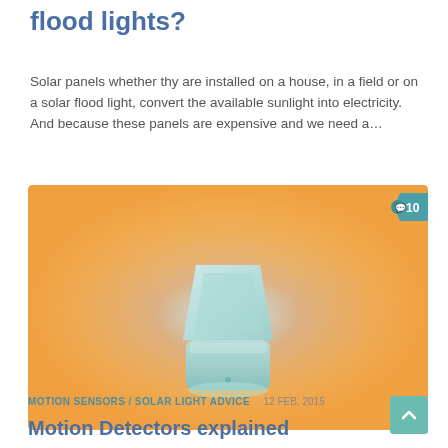flood lights?
Solar panels whether thy are installed on a house, in a field or on a solar flood light, convert the available sunlight into electricity. And because these panels are expensive and we need a...
[Figure (photo): Illustration of a motion sensor device in the center of a warm orange background with concentric oval rings emanating from it, suggesting a detection zone. A teal comment badge with '10' is visible in the top-right corner.]
MOTION SENSORS / SOLAR LIGHT ADVICE   12 FEB, 2015
Motion Detectors explained